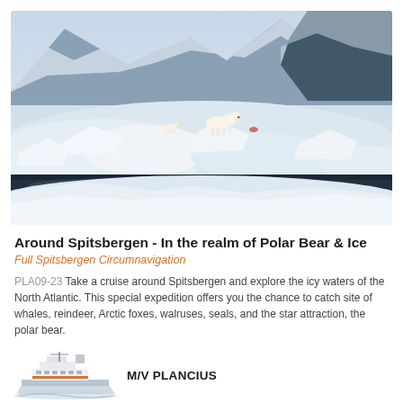[Figure (photo): Arctic landscape with polar bears on sea ice, snow-covered mountains in background, reflective dark water in foreground, blue-grey tones]
Around Spitsbergen - In the realm of Polar Bear & Ice
Full Spitsbergen Circumnavigation
PLA09-23 Take a cruise around Spitsbergen and explore the icy waters of the North Atlantic. This special expedition offers you the chance to catch site of whales, reindeer, Arctic foxes, walruses, seals, and the star attraction, the polar bear.
[Figure (illustration): Small illustration of a ship (M/V Plancius) viewed from the side]
M/V PLANCIUS